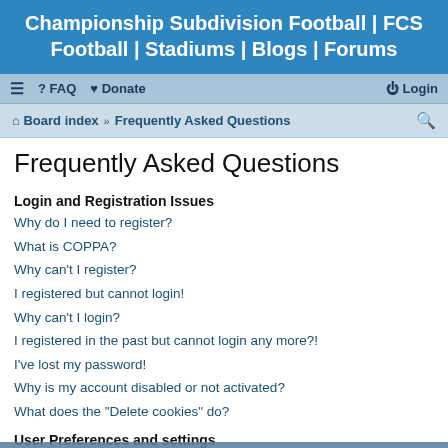Championship Subdivision Football | FCS Football | Stadiums | Blogs | Forums
≡ FAQ ♥ Donate  Login
Board index · Frequently Asked Questions
Frequently Asked Questions
Login and Registration Issues
Why do I need to register?
What is COPPA?
Why can't I register?
I registered but cannot login!
Why can't I login?
I registered in the past but cannot login any more?!
I've lost my password!
Why is my account disabled or not activated?
What does the "Delete cookies" do?
User Preferences and settings
How do I change my settings?
How do I prevent my username appearing in the online user listings?
The times are not correct!
I changed the timezone and the time is still wrong!
My language is not in the list!
This website uses cookies to ensure you get the best experience on our website.  Learn more
Got it!